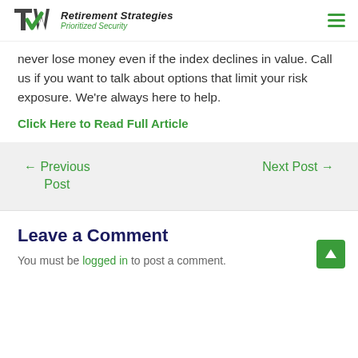Retirement Strategies — Prioritized Security
never lose money even if the index declines in value. Call us if you want to talk about options that limit your risk exposure. We're always here to help.
Click Here to Read Full Article
← Previous Post    Next Post →
Leave a Comment
You must be logged in to post a comment.